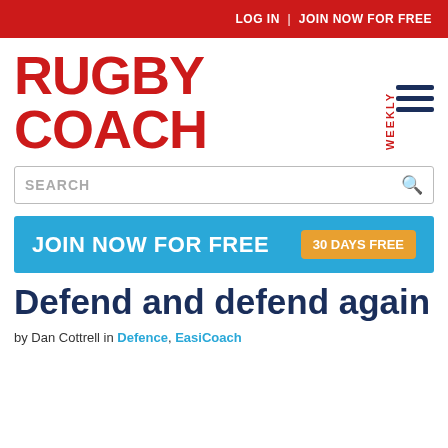LOG IN | JOIN NOW FOR FREE
[Figure (logo): Rugby Coach Weekly logo in red bold text with WEEKLY in vertical text]
SEARCH
[Figure (infographic): Blue banner advertisement: JOIN NOW FOR FREE | 30 DAYS FREE]
Defend and defend again
by Dan Cottrell in Defence, EasiCoach